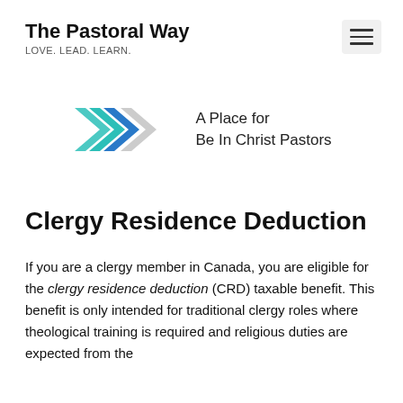The Pastoral Way
LOVE. LEAD. LEARN.
[Figure (logo): The Pastoral Way logo: three chevron/arrow shapes in teal, blue, and grey, with text 'A Place for Be In Christ Pastors']
Clergy Residence Deduction
If you are a clergy member in Canada, you are eligible for the clergy residence deduction (CRD) taxable benefit. This benefit is only intended for traditional clergy roles where theological training is required and religious duties are expected from the